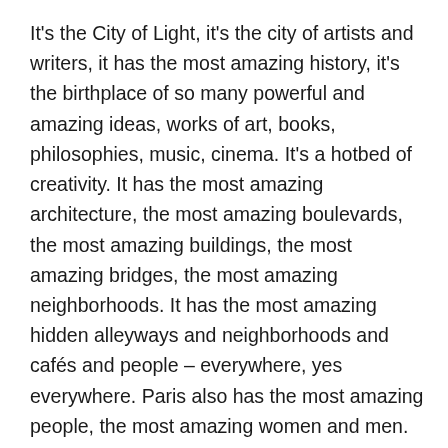It's the City of Light, it's the city of artists and writers, it has the most amazing history, it's the birthplace of so many powerful and amazing ideas, works of art, books, philosophies, music, cinema. It's a hotbed of creativity. It has the most amazing architecture, the most amazing boulevards, the most amazing buildings, the most amazing bridges, the most amazing neighborhoods. It has the most amazing hidden alleyways and neighborhoods and cafés and people – everywhere, yes everywhere. Paris also has the most amazing people, the most amazing women and men. The people of Paris are just amazing and Paris has the most amazing writers and philosophers. Just think about it, the list is so long and illustrious and wonderful that it takes my breath away. And yes, it's just amazing! Amazing! Just think about Paris and its history and it boggles the mind. Because Paris quite